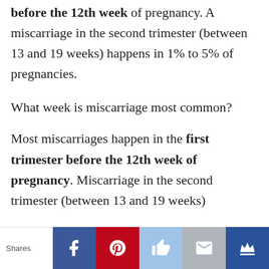before the 12th week of pregnancy. A miscarriage in the second trimester (between 13 and 19 weeks) happens in 1% to 5% of pregnancies.
What week is miscarriage most common?
Most miscarriages happen in the first trimester before the 12th week of pregnancy. Miscarriage in the second trimester (between 13 and 19 weeks)
Shares | Facebook | Pinterest | Like | Mail | Crown